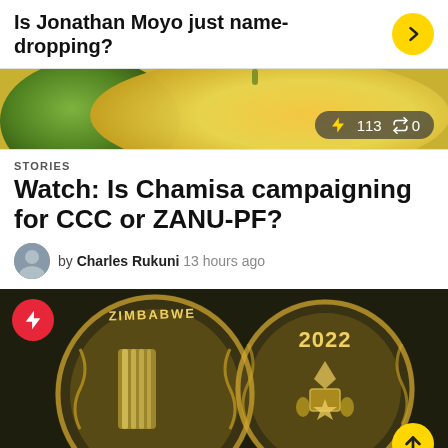Is Jonathan Moyo just name-dropping?
[Figure (photo): Photo of fruits (mangoes/avocados) in green and yellow tones with a dark overlay badge showing lightning bolt icon, 113, and 0]
STORIES
Watch: Is Chamisa campaigning for CCC or ZANU-PF?
by Charles Rukuni 13 hours ago
[Figure (photo): Photo of two Zimbabwe gold coins showing 'ZIMBABWE', 'Mosi-oa-Tu' text and '2022' with national coat of arms, on dark background. Red circular flash/lightning icon top left, yellow up-arrow button bottom right.]